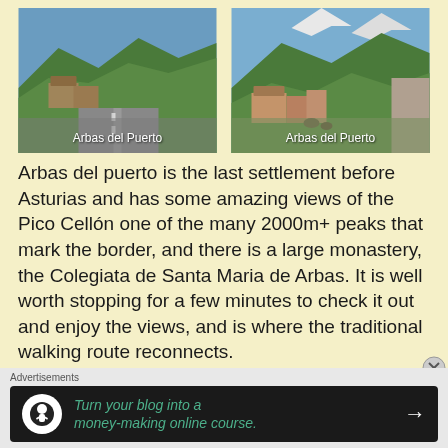[Figure (photo): Road and mountain village scene labeled 'Arbas del Puerto' — left photo]
[Figure (photo): Mountain village with snow-capped peaks labeled 'Arbas del Puerto' — right photo]
Arbas del puerto is the last settlement before Asturias and has some amazing views of the Pico Cellón one of the many 2000m+ peaks that mark the border, and there is a large monastery, the Colegiata de Santa Maria de Arbas. It is well worth stopping for a few minutes to check it out and enjoy the views, and is where the traditional walking route reconnects. The last push to Puerto Pajares, is the hardest part o
Advertisements
[Figure (infographic): Advertisement banner: dark background with tree/person icon, green italic text 'Turn your blog into a money-making online course.' with right arrow]